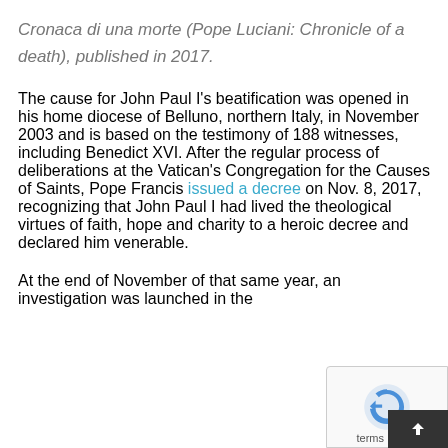Cronaca di una morte (Pope Luciani: Chronicle of a death), published in 2017.
The cause for John Paul I's beatification was opened in his home diocese of Belluno, northern Italy, in November 2003 and is based on the testimony of 188 witnesses, including Benedict XVI. After the regular process of deliberations at the Vatican's Congregation for the Causes of Saints, Pope Francis issued a decree on Nov. 8, 2017, recognizing that John Paul I had lived the theological virtues of faith, hope and charity to a heroic decree and declared him venerable.
At the end of November of that same year, an investigation was launched in the